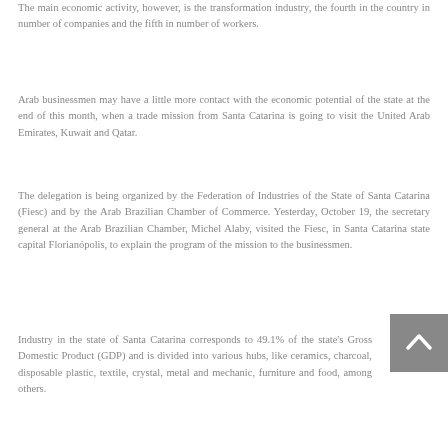The main economic activity, however, is the transformation industry, the fourth in the country in number of companies and the fifth in number of workers.
Arab businessmen may have a little more contact with the economic potential of the state at the end of this month, when a trade mission from Santa Catarina is going to visit the United Arab Emirates, Kuwait and Qatar.
The delegation is being organized by the Federation of Industries of the State of Santa Catarina (Fiesc) and by the Arab Brazilian Chamber of Commerce. Yesterday, October 19, the secretary general at the Arab Brazilian Chamber, Michel Alaby, visited the Fiesc, in Santa Catarina state capital Florianópolis, to explain the program of the mission to the businessmen.
Industry in the state of Santa Catarina corresponds to 49.1% of the state's Gross Domestic Product (GDP) and is divided into various hubs, like ceramics, charcoal, disposable plas... textile, crystal, metal and mechanic, furniture and food, among others.